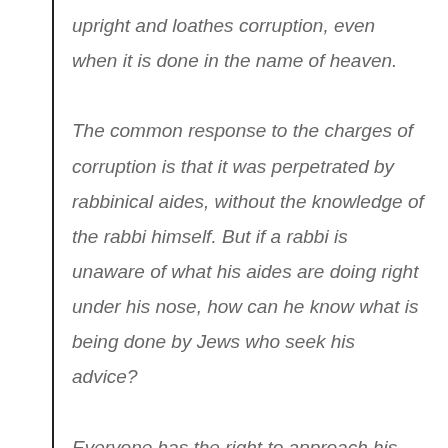upright and loathes corruption, even when it is done in the name of heaven. The common response to the charges of corruption is that it was perpetrated by rabbinical aides, without the knowledge of the rabbi himself. But if a rabbi is unaware of what his aides are doing right under his nose, how can he know what is being done by Jews who seek his advice? Everyone has the right to approach his trusted rabbi and donate money to him, even if the money constitutes the person's entire life